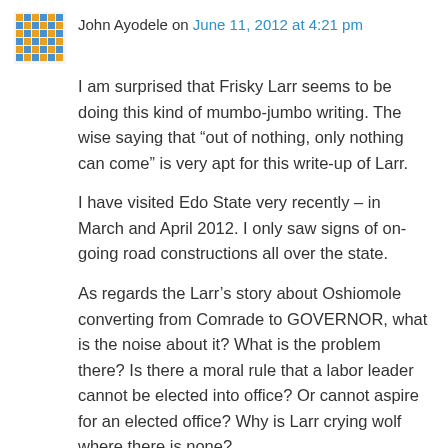John Ayodele on June 11, 2012 at 4:21 pm
I am surprised that Frisky Larr seems to be doing this kind of mumbo-jumbo writing. The wise saying that “out of nothing, only nothing can come” is very apt for this write-up of Larr.
I have visited Edo State very recently – in March and April 2012. I only saw signs of on-going road constructions all over the state.
As regards the Larr’s story about Oshiomole converting from Comrade to GOVERNOR, what is the noise about it? What is the problem there? Is there a moral rule that a labor leader cannot be elected into office? Or cannot aspire for an elected office? Why is Larr crying wolf where there is none?